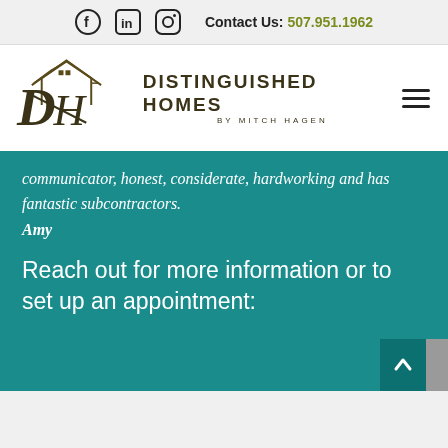Contact Us: 507.951.1962
[Figure (logo): Distinguished Homes by Mitch Hagen logo with house outline and DH monogram]
communicator, honest, considerate, hardworking and has fantastic subcontractors. Amy
Reach out for more information or to set up an appointment: